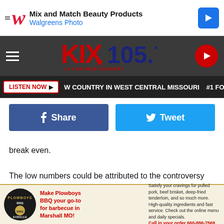[Figure (screenshot): Walgreens Photo advertisement banner with W logo and text 'Mix and Match Beauty Products' and 'Walgreens Photo', and a blue navigation diamond icon]
[Figure (logo): KIX 105.7 radio station header logo with '#1 FOR NEW COUNTRY' tagline on dark grey background with hamburger menu and red play button]
[Figure (screenshot): Dark bar with 'LISTEN NOW' button (red text) and text 'W COUNTRY IN WEST CENTRAL MISSOURI #1 FOI']
[Figure (screenshot): Facebook Share button (dark blue) and Twitter Tweet button (light blue)]
break even.
The low numbers could be attributed to the controversy leading up to the film's opening, when star Olivia Munn came forward to reveal Black had cast a registered sex offender in a scene, which has since been cut. It could also speak to a general fatigue around the Predator franchise, or a
[Figure (screenshot): Plowboys BBQ advertisement banner at bottom with logo, red text 'Make Plowboys BBQ your go-to for barbecue in Marshall MO!' and right side text about menu items and phone number 660-886-7569]